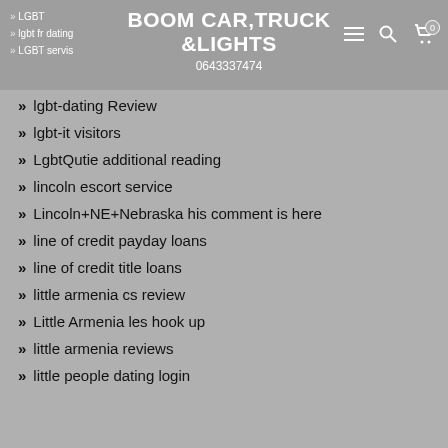BOOM CAR,TRUCK &LIGHTS
0643337474
LGBT servis
lgbt-dating Review
lgbt-it visitors
LgbtQutie additional reading
lincoln escort service
Lincoln+NE+Nebraska his comment is here
line of credit payday loans
line of credit title loans
little armenia cs review
Little Armenia les hook up
little armenia reviews
little people dating login